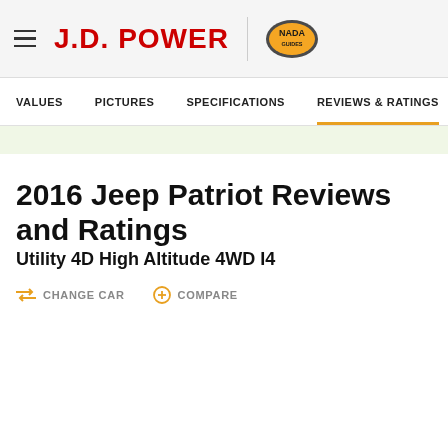J.D. POWER | NADA
VALUES  PICTURES  SPECIFICATIONS  REVIEWS & RATINGS
2016 Jeep Patriot Reviews and Ratings
Utility 4D High Altitude 4WD I4
CHANGE CAR   COMPARE